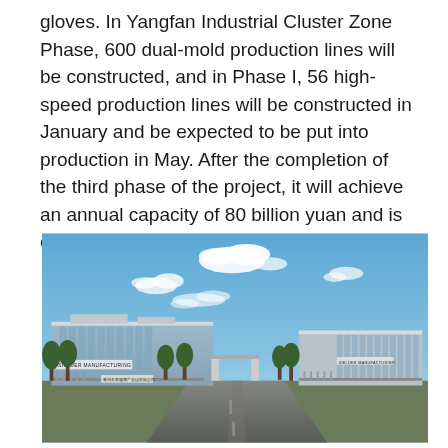gloves. In Yangfan Industrial Cluster Zone Phase, 600 dual-mold production lines will be constructed, and in Phase I, 56 high-speed production lines will be constructed in January and be expected to be put into production in May. After the completion of the third phase of the project, it will achieve an annual capacity of 80 billion yuan and is expected to provide 20,000 jobs.
[Figure (photo): Architectural rendering of Sielder Manufacturing industrial facility complex with large modern buildings, glass facades, trees, and a wide entrance road under a blue sky with clouds.]